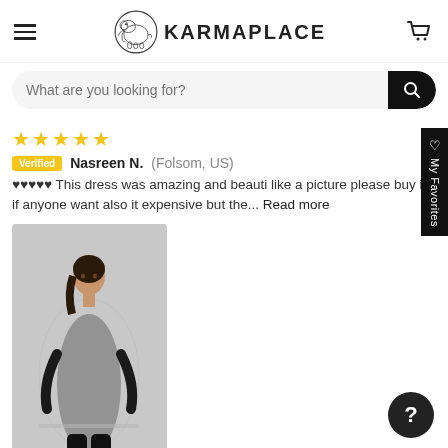KARMAPLACE — navigation header with hamburger menu, elephant logo, brand name, and cart icon
What are you looking for?
Nasreen N. (Folsom, US) — Verified — ♥♥♥♥♥ This dress was amazing and beautiful like a picture please buy it if anyone wants also it expensive but the... Read more
[Figure (photo): A woman wearing a black kurta with light grey embroidered dupatta, standing against a grey background.]
about Pure Cotton Embroidered Ready to...
Linda T. (San Francisco, ...) — Verified — I was disappointed... it was